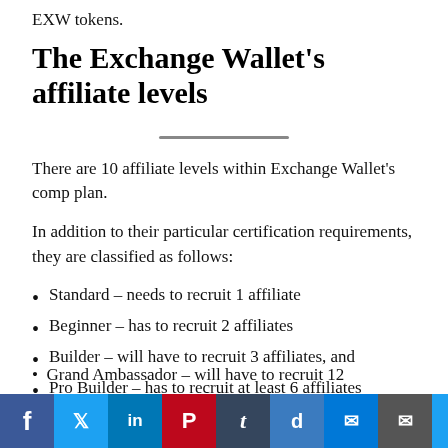EXW tokens.
The Exchange Wallet's affiliate levels
There are 10 affiliate levels within Exchange Wallet's comp plan.
In addition to their particular certification requirements, they are classified as follows:
Standard – needs to recruit 1 affiliate
Beginner – has to recruit 2 affiliates
Builder – will have to recruit 3 affiliates, and
Pro Builder – has to recruit at least 6 affiliates
Specialist Builder – needs to recruit at least 8 affiliates
Grand Ambassador – will have to recruit 12